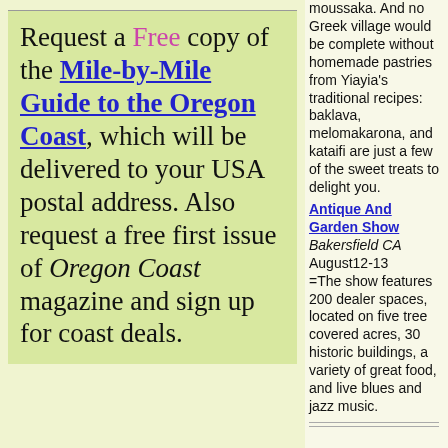Request a Free copy of the Mile-by-Mile Guide to the Oregon Coast, which will be delivered to your USA postal address. Also request a free first issue of Oregon Coast magazine and sign up for coast deals.
moussaka. And no Greek village would be complete without homemade pastries from Yiayia's traditional recipes: baklava, melomakarona, and kataifi are just a few of the sweet treats to delight you.
Antique And Garden Show Bakersfield CA August12-13 =The show features 200 dealer spaces, located on five tree covered acres, 30 historic buildings, a variety of great food, and live blues and jazz music.